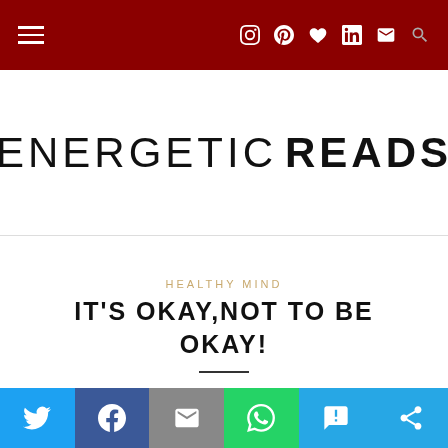Navigation bar with hamburger menu and social icons: Instagram, Pinterest, Heart, LinkedIn, Email, Search
ENERGETIC READS
HEALTHY MIND
IT'S OKAY,NOT TO BE OKAY!
Share buttons: Twitter, Facebook, Email, WhatsApp, SMS, Other